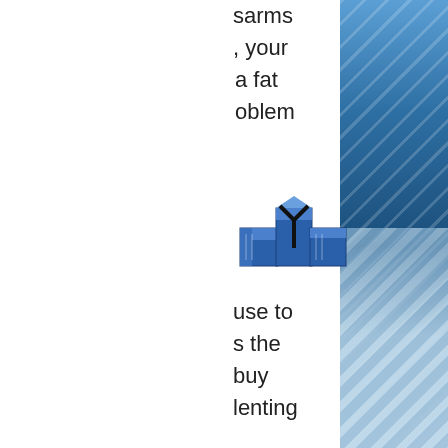[Figure (illustration): Website screenshot showing a partially visible page with logo, hamburger menu, and blue decorative photo strip on the right side containing diagonal striped pattern]
sarms , your a fat oblem
[Figure (logo): Company logo with blue geometric building/cube shapes and a Y-shaped structure]
use to s the buy lenting
with this for years, and have learned that creatine is very effective in a muscle building and fat burning state as I have seen a tremendous effect at any weight. It is an amino acid that is found naturally in muscle meats and it provides two important benefits to bodybuilders that are not found in any other protein.
Firstly creatine is an amazing source of energy and second creatine is very active in the brain, buy sarms gold coast. It is an